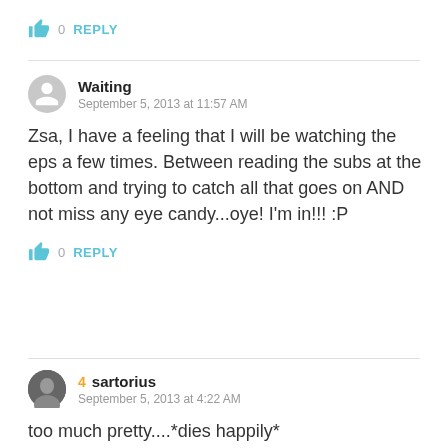👍 0  REPLY
Waiting
September 5, 2013 at 11:57 AM
Zsa, I have a feeling that I will be watching the eps a few times. Between reading the subs at the bottom and trying to catch all that goes on AND not miss any eye candy...oye! I'm in!!! :P
👍 0  REPLY
4  sartorius
September 5, 2013 at 4:22 AM
too much pretty....*dies happily*